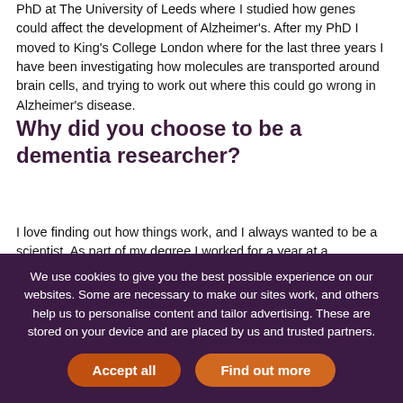PhD at The University of Leeds where I studied how genes could affect the development of Alzheimer's. After my PhD I moved to King's College London where for the last three years I have been investigating how molecules are transported around brain cells, and trying to work out where this could go wrong in Alzheimer's disease.
Why did you choose to be a dementia researcher?
I love finding out how things work, and I always wanted to be a scientist. As part of my degree I worked for a year at a pharmaceutical company. I had to apply for the job during the first year of my degree, when I didn't really know much science, so I had absolutely no idea what the job actually was. It turned out to be looking for drugs for Alzheimer's disease, which until that point I
We use cookies to give you the best possible experience on our websites. Some are necessary to make our sites work, and others help us to personalise content and tailor advertising. These are stored on your device and are placed by us and trusted partners.